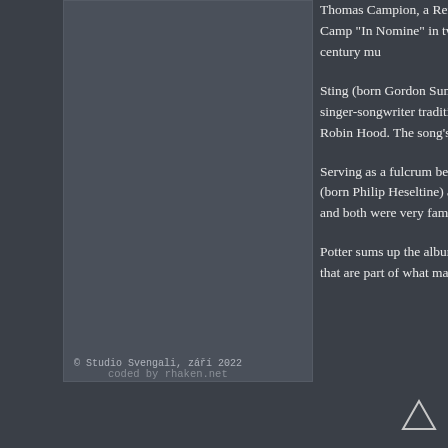[Figure (photo): A rectangular image panel with dark gray background, partially visible on left side of page]
© Studio Svengali, září 2022
Thomas Campion, a Renaissance and Friman also sing Camp "In Nomine" in two version Picforth, a 16th-century mu
Sting (born Gordon Sumne beyond in his solo career, e singer-songwriter tradition. pop star. Sting originally w Robin Hood. The song's so
Serving as a fulcrum betwe "Oh, Fair Enough Are Sky (born Philip Heseltine) and lutes, with each sounding v and both were very familia or played a lute."
Potter sums up the album's gap between art song and p that are part of what make a was a photograph of the so
coded by rhaken.net